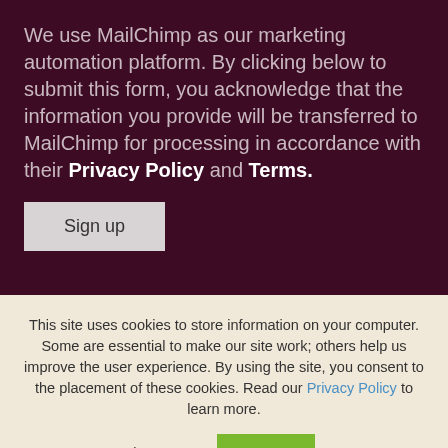We use MailChimp as our marketing automation platform. By clicking below to submit this form, you acknowledge that the information you provide will be transferred to MailChimp for processing in accordance with their Privacy Policy and Terms.
Sign up
This site uses cookies to store information on your computer. Some are essential to make our site work; others help us improve the user experience. By using the site, you consent to the placement of these cookies. Read our Privacy Policy to learn more.
Accept